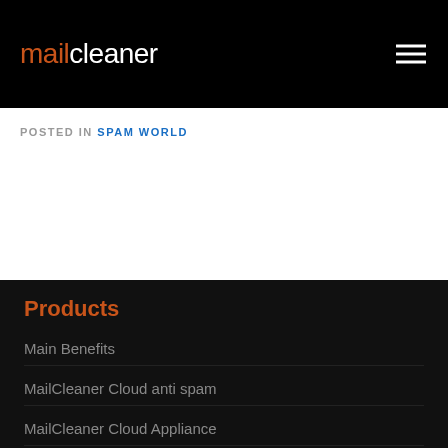mailcleaner
POSTED IN SPAM WORLD
Products
Main Benefits
MailCleaner Cloud anti spam
MailCleaner Cloud Appliance
MailCleaner Virtual Appliance
Documentation